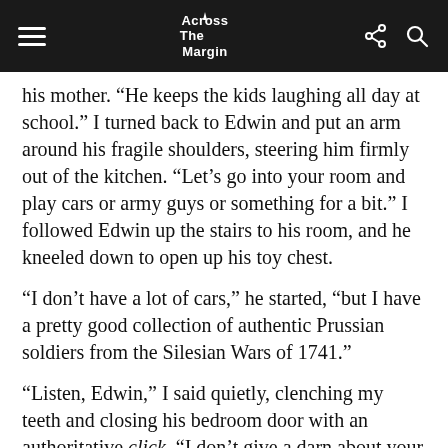Across The Margin
his mother. “He keeps the kids laughing all day at school.” I turned back to Edwin and put an arm around his fragile shoulders, steering him firmly out of the kitchen. “Let’s go into your room and play cars or army guys or something for a bit.” I followed Edwin up the stairs to his room, and he kneeled down to open up his toy chest.
“I don’t have a lot of cars,” he started, “but I have a pretty good collection of authentic Prussian soldiers from the Silesian Wars of 1741.”
“Listen, Edwin,” I said quietly, clenching my teeth and closing his bedroom door with an authoritative click. “I don’t give a darn about your sissy Prussian army, or